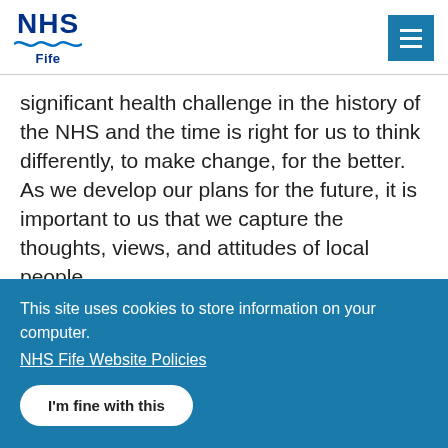NHS Fife
significant health challenge in the history of the NHS and the time is right for us to think differently, to make change, for the better. As we develop our plans for the future, it is important to us that we capture the thoughts, views, and attitudes of local people.
This site uses cookies to store information on your computer.
NHS Fife Website Policies
I'm fine with this